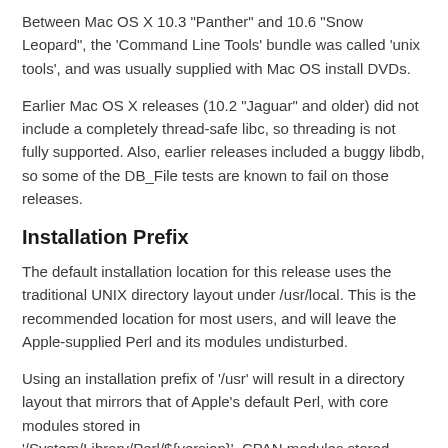Between Mac OS X 10.3 "Panther" and 10.6 "Snow Leopard", the 'Command Line Tools' bundle was called 'unix tools', and was usually supplied with Mac OS install DVDs.
Earlier Mac OS X releases (10.2 "Jaguar" and older) did not include a completely thread-safe libc, so threading is not fully supported. Also, earlier releases included a buggy libdb, so some of the DB_File tests are known to fail on those releases.
Installation Prefix
The default installation location for this release uses the traditional UNIX directory layout under /usr/local. This is the recommended location for most users, and will leave the Apple-supplied Perl and its modules undisturbed.
Using an installation prefix of '/usr' will result in a directory layout that mirrors that of Apple's default Perl, with core modules stored in '/System/Library/Perl/${version}', CPAN modules stored